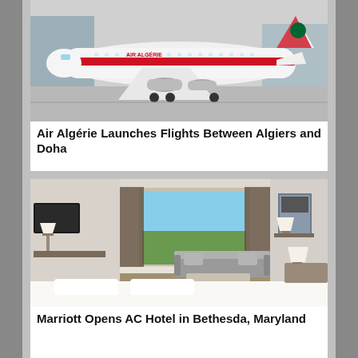[Figure (photo): Air Algérie airplane (white with red stripe and Air Algérie livery) on airport tarmac]
Air Algérie Launches Flights Between Algiers and Doha
[Figure (photo): Modern hotel room interior with large bed, sofa, window view of city, neutral tones — Marriott AC Hotel Bethesda Maryland]
Marriott Opens AC Hotel in Bethesda, Maryland